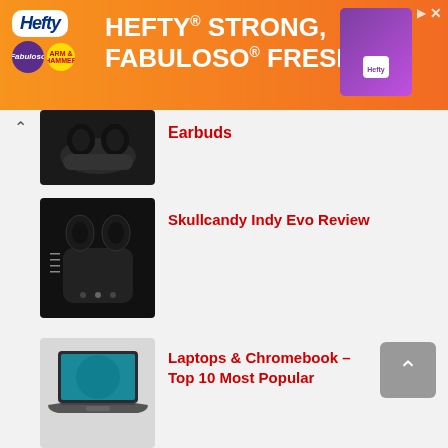[Figure (photo): Hefty 'HEFTY STRONG, FABULOSO FRESH' advertisement banner with orange background, Hefty logo, Fabuloso and Arm & Hammer logos on left, product image on right]
[Figure (photo): Black wireless earbuds in charging case, partially visible at top of content area]
Earbuds
[Figure (photo): Skullcandy Indy Evo earbuds in black charging case with feature callouts]
Skullcandy Indy Evo Review
[Figure (photo): Laptop / Chromebook floating on light background]
Laptops & Chromebook – Top 10 Most Popular
[Figure (photo): Jabra Speak 710 portable speaker, partially visible at bottom]
Jabra Speak 710 Review